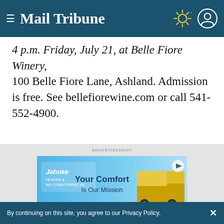Mail Tribune
4 p.m. Friday, July 21, at Belle Fiore Winery, 100 Belle Fiore Lane, Ashland. Admission is free. See bellefiorewine.com or call 541-552-4900.
ADVERTISEMENT
[Figure (other): Advertisement banner for Jahnke Heating & Air Conditioning Inc. with text: Your Comfort Is Our Mission, featuring a yellow truck]
L.E.F.T.: Rock band L.E.F.T. — singer and guitarist Bret Levick, Bob Evoniuk on Dobro, bassist Greg Frederick, drummer Matt Terreri
By continuing on this site, you agree to our Privacy Policy.